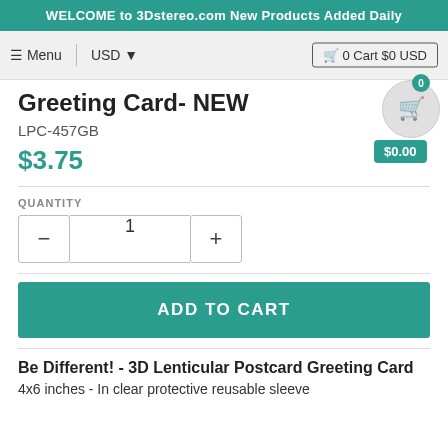WELCOME to 3Dstereo.com New Products Added Daily
Greeting Card- NEW
LPC-457GB
$3.75
QUANTITY
1
ADD TO CART
Be Different! - 3D Lenticular Postcard Greeting Card
4x6 inches - In clear protective reusable sleeve